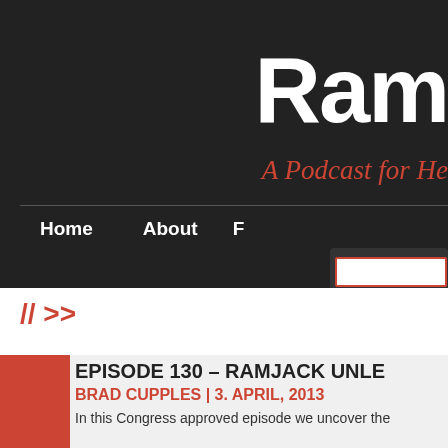Ram
A Podcast for He
Home    About    F
// >>
EPISODE 130 – RAMJACK UNLE
BRAD CUPPLES | 3. APRIL, 2013
In this Congress approved episode we uncover the